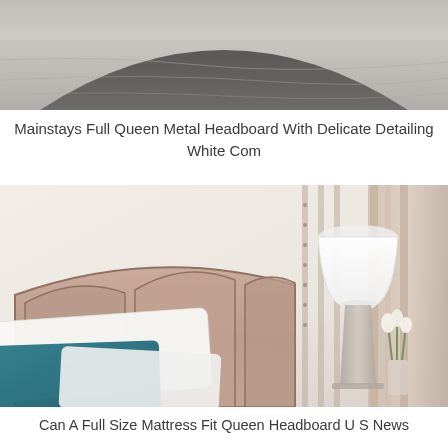[Figure (photo): Top portion of a bed with grey/white bedding and a dark metal headboard, cropped view from above]
Mainstays Full Queen Metal Headboard With Delicate Detailing White Com
[Figure (photo): Elegant bedroom scene with a pink/mauve upholstered headboard with three arched panels, white and teal pillows, a glass table lamp with white shade on a side table, white tulips in a vase, and decorative vertical wall panels in the background]
Can A Full Size Mattress Fit Queen Headboard U S News